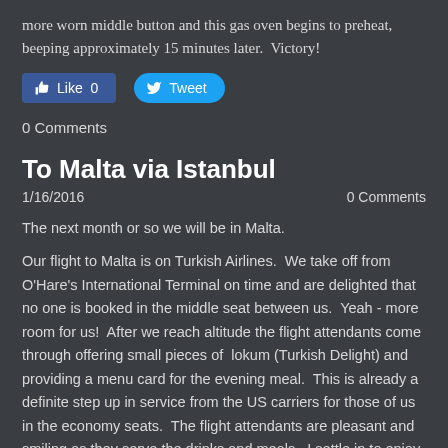more worn middle button and this gas oven begins to preheat, beeping approximately 15 minutes later.  Victory!
[Figure (other): Social media buttons: Facebook Like (0) and Twitter Tweet]
0 Comments
To Malta via Istanbul
1/16/2016   0 Comments
The next month or so we will be in Malta.
Our flight to Malta is on Turkish Airlines.  We take off from O'Hare's International Terminal on time and are delighted that no one is booked in the middle seat between us.  Yeah - more room for us!  After we reach altitude the flight attendants come through offering small pieces of  lokum (Turkish Delight) and providing a menu card for the evening meal.  This is already a definite step up in service from the US carriers for those of us in the economy seats.  The flight attendants are pleasant and smiling as they serve the drinks and meals.  I settle in to enjoy some wine and the meal along with the first of a couple of